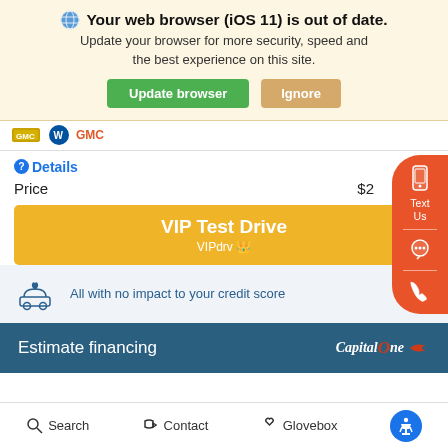Your web browser (iOS 11) is out of date. Update your browser for more security, speed and the best experience on this site.
Update browser | Ignore
[Figure (logo): GMC logo strip partially visible]
Details
Price  $2
VIP Test Drive VIPdrv
All with no impact to your credit score
Estimate financing
[Figure (logo): Capital One logo]
Search  Contact  Glovebox